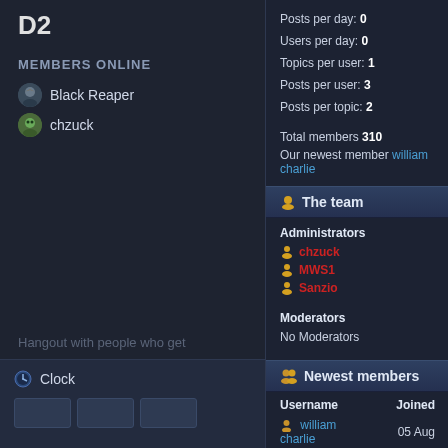D2
MEMBERS ONLINE
Black Reaper
chzuck
Hangout with people who get
Clock
Posts per day: 0
Users per day: 0
Topics per user: 1
Posts per user: 3
Posts per topic: 2
Total members 310
Our newest member william charlie
The team
Administrators
chzuck
MWS1
Sanzio
Moderators
No Moderators
Newest members
| Username | Joined |
| --- | --- |
| william charlie | 05 Aug |
| okusakijapan | 04 Aug |
| upohy | 23 Jul |
| antamseo123 | 17 Jul |